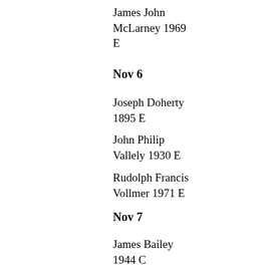James John McLarney 1969 E
Nov 6
Joseph Doherty 1895 E
John Philip Vallely 1930 E
Rudolph Francis Vollmer 1971 E
Nov 7
James Bailey 1944 C
Justin James Butler 1973 W
Nov 8
Anthony George